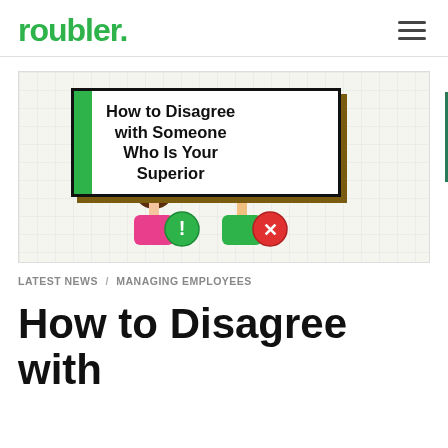roubler.
[Figure (illustration): Hero image for a blog post: a title card reading 'How to Disagree with Someone Who Is Your Superior' with a green sidebar stripe and brown shadow, set on a grid background. Below the card are two cartoon characters: a woman in pink and a man in green, with green exclamation and red X icons representing disagreement.]
LATEST NEWS / MANAGING EMPLOYEES
How to Disagree with